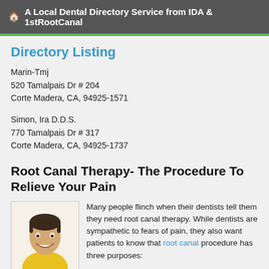🏠 A Local Dental Directory Service from IDA & 1stRootCanal
Directory Listing
Marin-Tmj
520 Tamalpais Dr # 204
Corte Madera, CA, 94925-1571
Simon, Ira D.D.S.
770 Tamalpais Dr # 317
Corte Madera, CA, 94925-1737
Root Canal Therapy- The Procedure To Relieve Your Pain
[Figure (photo): Smiling young man in a yellow shirt]
Many people flinch when their dentists tell them they need root canal therapy. While dentists are sympathetic to fears of pain, they also want patients to know that root canal procedure has three purposes:
Stop the root canal symptoms of a
... read more